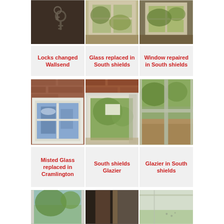[Figure (photo): Three photos in a row: keys hanging on a wall, an open window from inside, and another window view from inside.]
Locks changed Wallsend
Glass replaced in South shields
Window repaired in South shields
[Figure (photo): Three photos in a row: white window frame on brick wall, open white uPVC window on brick, view through window to garden.]
Misted Glass replaced in Cramlington
South shields Glazier
Glazier in South shields
[Figure (photo): Three photos in a row: window with tree reflection, dark window frame/door edge, misted double glazed unit with green view outside.]